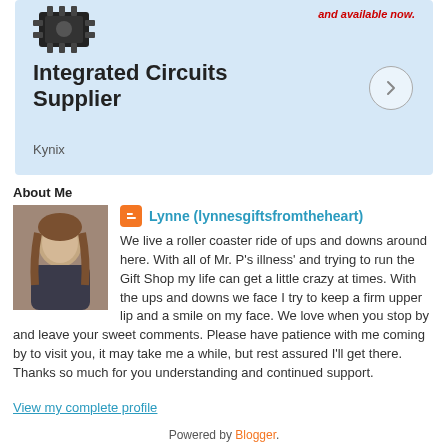[Figure (other): Advertisement banner for Kynix Integrated Circuits Supplier with light blue background, chip image, bold text 'Integrated Circuits Supplier', arrow button, and 'Kynix' label]
About Me
[Figure (photo): Profile photo of a woman with long hair]
Lynne (lynnesgiftsfromtheheart)
We live a roller coaster ride of ups and downs around here. With all of Mr. P's illness' and trying to run the Gift Shop my life can get a little crazy at times. With the ups and downs we face I try to keep a firm upper lip and a smile on my face. We love when you stop by and leave your sweet comments. Please have patience with me coming by to visit you, it may take me a while, but rest assured I'll get there. Thanks so much for you understanding and continued support.
View my complete profile
Powered by Blogger.